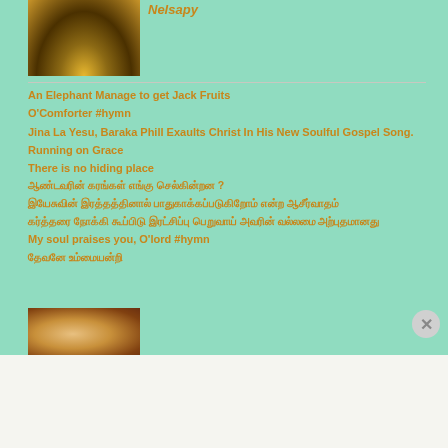[Figure (photo): Thumbnail image of an illuminated temple or building at night]
Nelsapy
An Elephant Manage to get Jack Fruits
O'Comforter #hymn
Jina La Yesu, Baraka Phill Exaults Christ In His New Soulful Gospel Song.
Running on Grace
There is no hiding place
ஆண்டவரின் கரங்கள் எங்கு செல்கின்றன ?
இயேசுவின் இரத்தத்தினால் பாதுகாக்கப்படுகிறோம் என்ற ஆசீர்வாதம்
கர்த்தரை நோக்கி கூப்பிடு இரட்சிப்பு பெறுவாய் அவரின் வல்லமை அற்புதமானது
My soul praises you, O'lord #hymn
தேவனே உம்மையன்றி
[Figure (photo): Partial thumbnail of a person]
Advertisements
[Figure (photo): Ulta Beauty advertisement banner showing makeup looks]